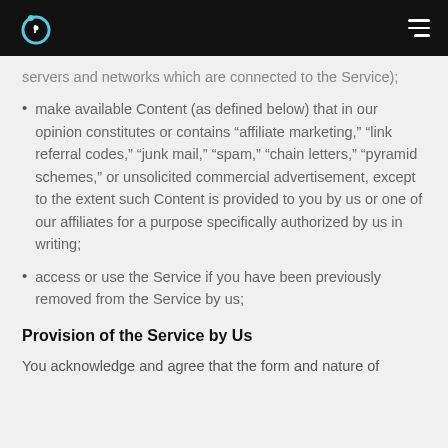[Logo] [Hamburger menu]
servers and networks which are connected to the Service);
make available Content (as defined below) that in our opinion constitutes or contains “affiliate marketing,” “link referral codes,” “junk mail,” “spam,” “chain letters,” “pyramid schemes,” or unsolicited commercial advertisement, except to the extent such Content is provided to you by us or one of our affiliates for a purpose specifically authorized by us in writing;
access or use the Service if you have been previously removed from the Service by us;
Provision of the Service by Us
You acknowledge and agree that the form and nature of